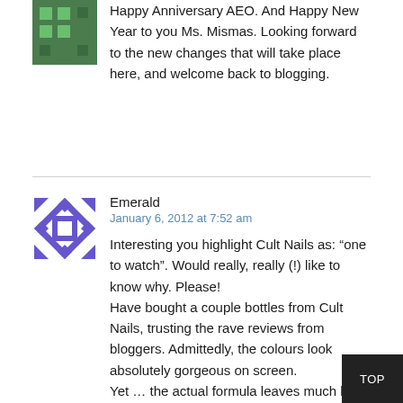Happy Anniversary AEO. And Happy New Year to you Ms. Mismas. Looking forward to the new changes that will take place here, and welcome back to blogging.
Emerald
January 6, 2012 at 7:52 am
Interesting you highlight Cult Nails as: “one to watch”. Would really, really (!) like to know why. Please!
Have bought a couple bottles from Cult Nails, trusting the rave reviews from bloggers. Admittedly, the colours look absolutely gorgeous on screen.
Yet … the actual formula leaves much be desired. In real life, it’s incredibly p… quality … low sheen, not easy to work